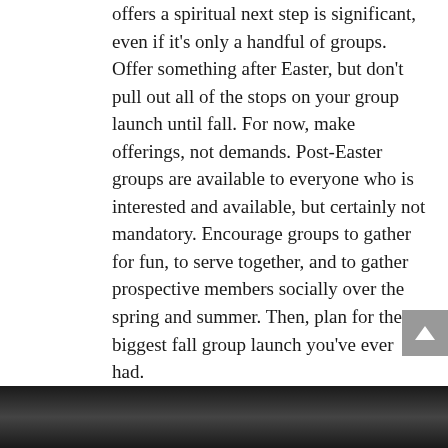offers a spiritual next step is significant, even if it's only a handful of groups. Offer something after Easter, but don't pull out all of the stops on your group launch until fall. For now, make offerings, not demands. Post-Easter groups are available to everyone who is interested and available, but certainly not mandatory. Encourage groups to gather for fun, to serve together, and to gather prospective members socially over the spring and summer. Then, plan for the biggest fall group launch you've ever had.
What are your spring group launch plans?
[Figure (photo): Dark photographic image strip at bottom of page]